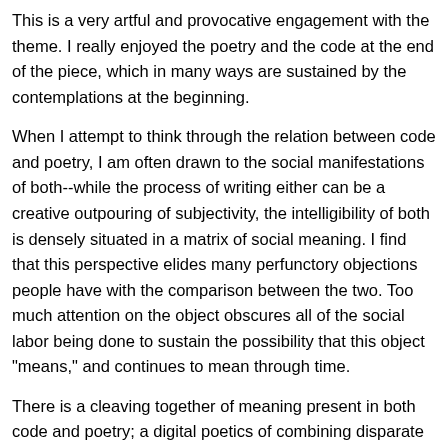This is a very artful and provocative engagement with the theme. I really enjoyed the poetry and the code at the end of the piece, which in many ways are sustained by the contemplations at the beginning.
When I attempt to think through the relation between code and poetry, I am often drawn to the social manifestations of both--while the process of writing either can be a creative outpouring of subjectivity, the intelligibility of both is densely situated in a matrix of social meaning. I find that this perspective elides many perfunctory objections people have with the comparison between the two. Too much attention on the object obscures all of the social labor being done to sustain the possibility that this object "means," and continues to mean through time.
There is a cleaving together of meaning present in both code and poetry; a digital poetics of combining disparate patches of meaning into new forms. I am thinking, here, of Alexander Galloway's Laruelle: Against the Digital, which likens digitality with philosophy, in that both enact a cutting and fragmentation of meaning. While I am just sketching the outline of a comparison here, I feel that coding is productive in much the same way that poetry is: they both offer a certain level of creative potential (which, with the former, carries with it the risk that we are not interfacing properly, a constant negotiation). There is something about importing modules and libraries that